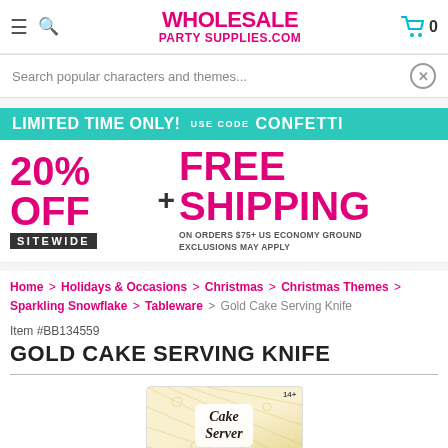WHOLESALE PARTY SUPPLIES.COM
Search popular characters and themes...
[Figure (infographic): Promotional banner: LIMITED TIME ONLY! USE CODE CONFETTI — 20% OFF SITEWIDE + FREE SHIPPING ON ORDERS $75+ US ECONOMY GROUND EXCLUSIONS MAY APPLY]
Home > Holidays & Occasions > Christmas > Christmas Themes > Sparkling Snowflake > Tableware > Gold Cake Serving Knife
Item #BB134559
GOLD CAKE SERVING KNIFE
[Figure (photo): Product image of Gold Cake Server package with gold snowflake decorations, labeled 'Cake Server', age 14+]